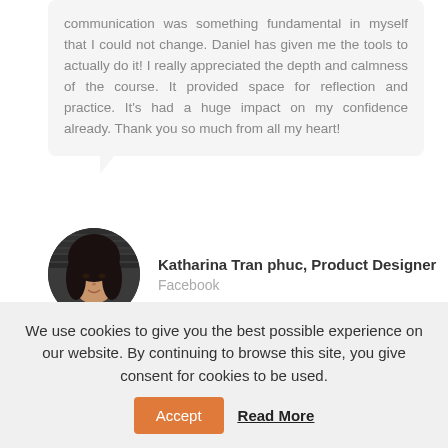communication was something fundamental in myself that I could not change. Daniel has given me the tools to actually do it! I really appreciated the depth and calmness of the course. It provided space for reflection and practice. It's had a huge impact on my confidence already. Thank you so much from all my heart!
Katharina Tran phuc, Product Designer
Facebook
[Figure (photo): Circular avatar photo of Katharina Tran phuc, a woman with dark hair]
If you want to take full control of your 'life' and
We use cookies to give you the best possible experience on our website. By continuing to browse this site, you give consent for cookies to be used.